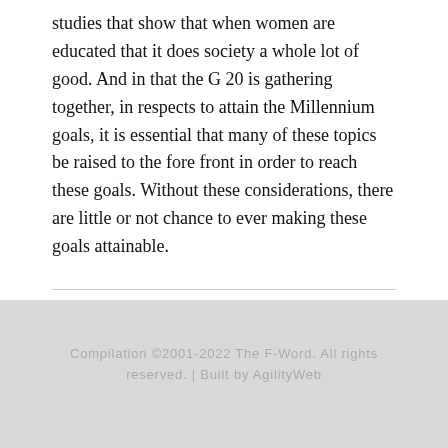studies that show that when women are educated that it does society a whole lot of good. And in that the G 20 is gathering together, in respects to attain the Millennium goals, it is essential that many of these topics be raised to the fore front in order to reach these goals. Without these considerations, there are little or not chance to ever making these goals attainable.
Comments are closed.
Compilation ©2001-2022 The F-Word. All rights reserved. | Built by AgilityWeb